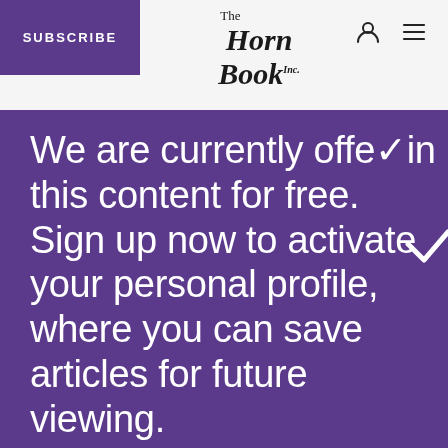SUBSCRIBE
[Figure (logo): The Horn Book Inc. logo in serif italic font]
We are currently offering this content for free. Sign up now to activate your personal profile, where you can save articles for future viewing.
CREATE AN ACCOUNT
ALREADY A SUBSCRIBER? LOG IN